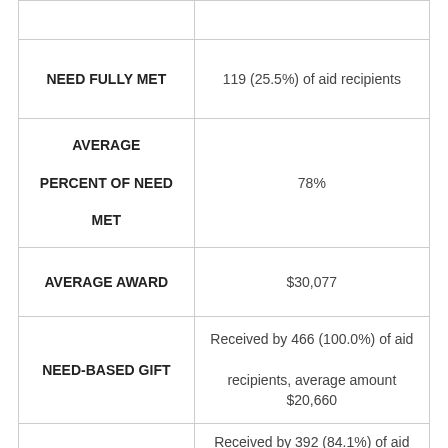| Category | Value |
| --- | --- |
| NEED FULLY MET | 119 (25.5%) of aid recipients |
| AVERAGE PERCENT OF NEED MET | 78% |
| AVERAGE AWARD | $30,077 |
| NEED-BASED GIFT | Received by 466 (100.0%) of aid recipients, average amount $20,660 |
| NEED-BASED SELF-HELP | Received by 392 (84.1%) of aid recipients, average amount $8,364 |
| MERIT-BASED GIFT | Received by 465 (99.8%) of aid recipients |